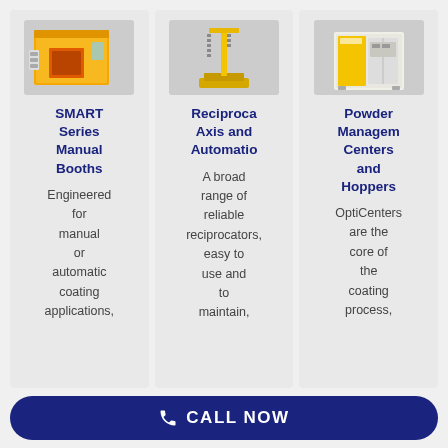[Figure (photo): SMART Series Manual Booth machine - orange/yellow industrial coating booth]
SMART Series Manual Booths
Engineered for manual or automatic coating applications,
[Figure (photo): Reciprocator Axis and Automation machine - tall yellow vertical reciprocator unit]
Reciproca Axis and Automatió
A broad range of reliable reciprocators, easy to use and to maintain,
[Figure (photo): Powder Management Centers and Hoppers - white/yellow cabinet unit]
Powder Management Centers and Hoppers
OptiCenters are the core of the coating process,
CALL NOW